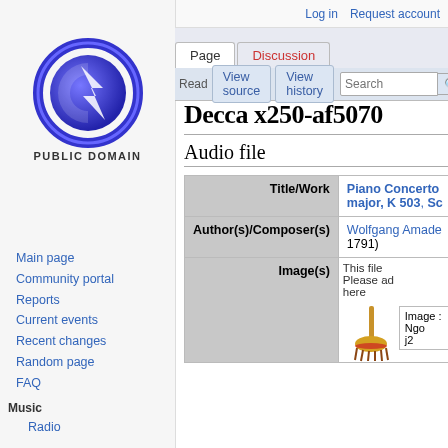Log in   Request account
[Figure (logo): Public Domain logo - circular blue/purple design with C letter and lightning bolt]
PUBLIC DOMAIN
Main page
Community portal
Reports
Current events
Recent changes
Random page
FAQ
Music
Radio
Encyclopedia
Deutsch
English
Español
Decca x250-af5070
Audio file
| Field | Value |
| --- | --- |
| Title/Work | Piano Concerto ... major, K 503, Sc... |
| Author(s)/Composer(s) | Wolfgang Amade... 1791) |
| Image(s) | This file... Please ad... here |